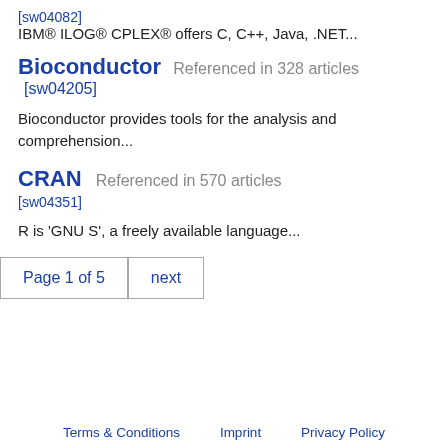[sw04082]
IBM® ILOG® CPLEX® offers C, C++, Java, .NET...
Bioconductor  Referenced in 328 articles  [sw04205]
Bioconductor provides tools for the analysis and comprehension...
CRAN  Referenced in 570 articles  [sw04351]
R is 'GNU S', a freely available language...
Page 1 of 5   next
Terms & Conditions   Imprint   Privacy Policy